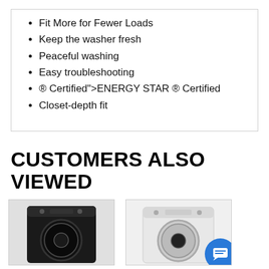Fit More for Fewer Loads
Keep the washer fresh
Peaceful washing
Easy troubleshooting
® Certified">ENERGY STAR ® Certified
Closet-depth fit
CUSTOMERS ALSO VIEWED
[Figure (photo): Black front-load washing machine or dryer product photo]
[Figure (photo): White/silver front-load washing machine product photo]